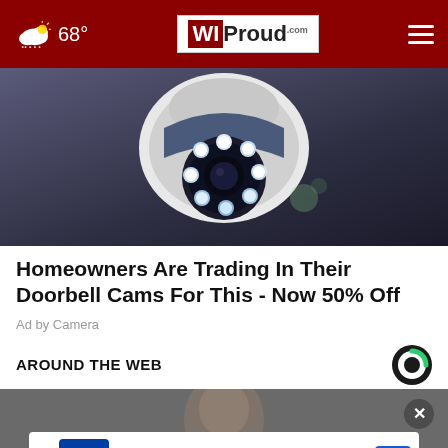68° WIProud.com
[Figure (photo): Close-up photo of a white security camera with blue LED ring lights on a dark background]
Homeowners Are Trading In Their Doorbell Cams For This - Now 50% Off
Ad by Camera
AROUND THE WEB
[Figure (photo): Person's face blurred in the background with a petco advertisement banner overlay showing Rockville location open 9AM-8PM at 1507 Rockville Pike, Rockville]